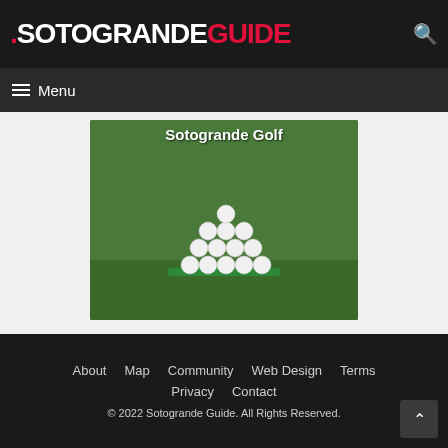.SOTOGRANDEGUIDE
≡ Menu
[Figure (photo): A pyramid of white golf balls stacked on green grass with text 'Sotogrande Golf' overlaid at the top.]
About   Map   Community   Web Design   Terms   Privacy   Contact   © 2022 Sotogrande Guide. All Rights Reserved.